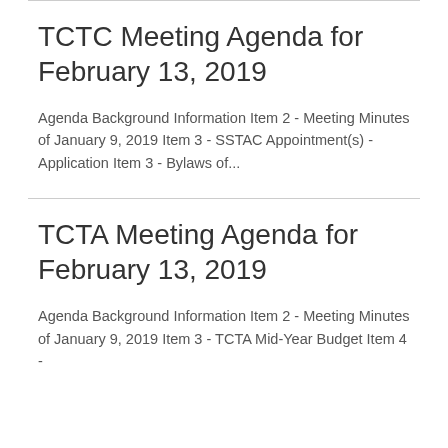TCTC Meeting Agenda for February 13, 2019
Agenda Background Information Item 2 - Meeting Minutes of January 9, 2019 Item 3 - SSTAC Appointment(s) - Application Item 3 - Bylaws of...
TCTA Meeting Agenda for February 13, 2019
Agenda Background Information Item 2 - Meeting Minutes of January 9, 2019 Item 3 - TCTA Mid-Year Budget Item 4 -